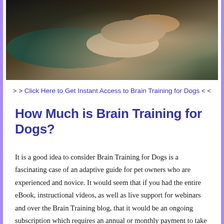[Figure (photo): Close-up photo of a person holding a beagle dog, showing the dog's face and ears prominently with hands visible]
> > Click Here to Get Instant Access to Brain Training for Dogs < <
How Much is Brain Training for Dogs?
It is a good idea to consider Brain Training for Dogs is a fascinating case of an adaptive guide for pet owners who are experienced and novice. It would seem that if you had the entire eBook, instructional videos, as well as live support for webinars and over the Brain Training blog, that it would be an ongoing subscription which requires an annual or monthly payment to take part in.